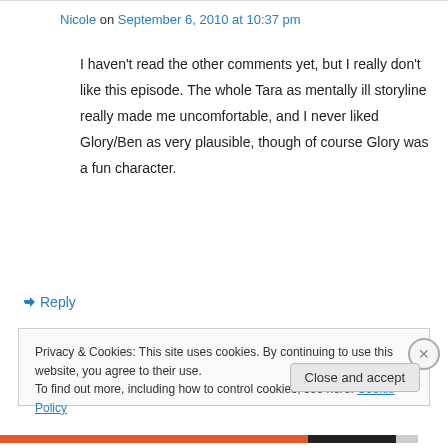Nicole on September 6, 2010 at 10:37 pm
I haven't read the other comments yet, but I really don't like this episode. The whole Tara as mentally ill storyline really made me uncomfortable, and I never liked Glory/Ben as very plausible, though of course Glory was a fun character.
↳ Reply
Privacy & Cookies: This site uses cookies. By continuing to use this website, you agree to their use. To find out more, including how to control cookies, see here: Cookie Policy
Close and accept